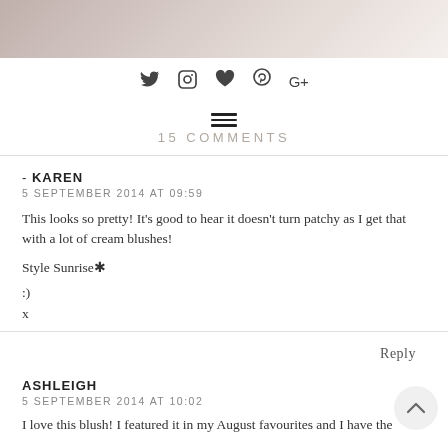[Figure (photo): Top portion of a beauty/makeup blog image showing cosmetics products]
[Figure (infographic): Social media icons: Twitter bird, Instagram camera, heart, Pinterest, Google+]
15 COMMENTS
- KAREN
5 SEPTEMBER 2014 AT 09:59
This looks so pretty! It's good to hear it doesn't turn patchy as I get that with a lot of cream blushes!

Style Sunrise ✳

:)
x
Reply
ASHLEIGH
5 SEPTEMBER 2014 AT 10:02
I love this blush! I featured it in my August favourites and I have the